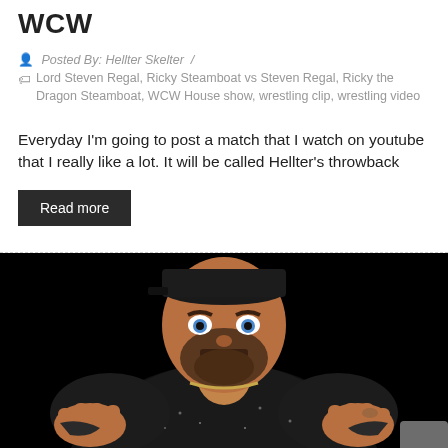WCW
Posted By: Hellter Skelter  /
Lord Steven Regal, Ricky Steamboat vs Steven Regal, Ricky the Dragon Steamboat, WCW House show, wrestling clip, wrestling video
Everyday I'm going to post a match that I watch on youtube that I really like a lot. It will be called Hellter's throwback
Read more
[Figure (photo): A wrestler with a beard and dark clothing staring intensely at the camera against a black background]